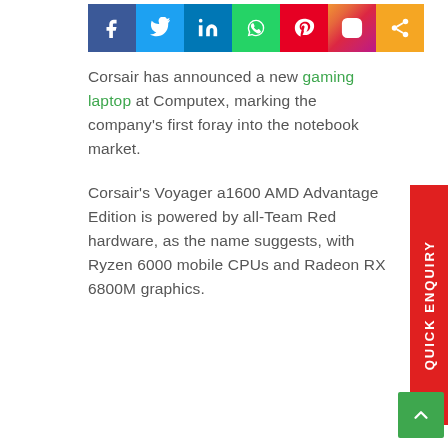[Figure (other): Social media sharing icons row: Facebook, Twitter, LinkedIn, WhatsApp, Pinterest, Instagram, Share]
Corsair has announced a new gaming laptop at Computex, marking the company's first foray into the notebook market.
Corsair's Voyager a1600 AMD Advantage Edition is powered by all-Team Red hardware, as the name suggests, with Ryzen 6000 mobile CPUs and Radeon RX 6800M graphics.